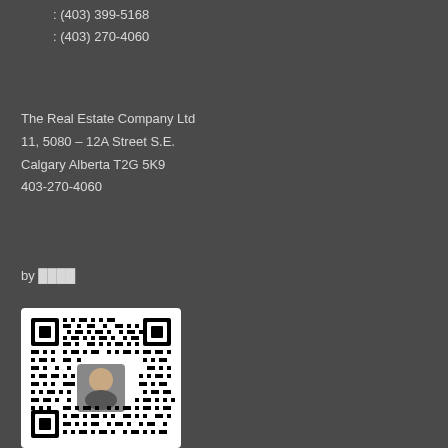: (403) 399-5168
: (403) 270-4060
The Real Estate Company Ltd
11, 5080 – 12A Street S.E.
Calgary Alberta T2G 5K9
403-270-4060
by ████
[Figure (other): QR code with a person's photo in the center]